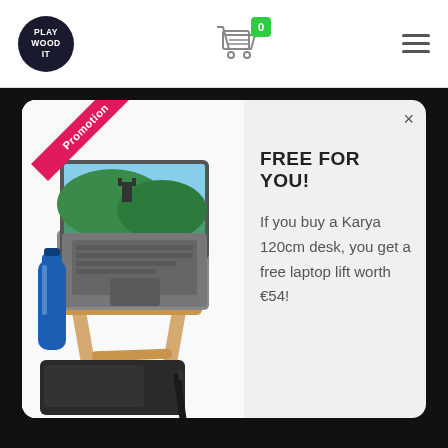[Figure (logo): Playwood.it circular logo with dark navy background and white text]
[Figure (illustration): Shopping cart icon with green badge showing 0]
[Figure (illustration): Hamburger menu icon (three horizontal lines)]
[Figure (photo): Laptop on a wooden stand with blue water bottle and drawing tablet, white background, Promotion ribbon badge in top-left corner]
FREE FOR YOU!
If you buy a Karya 120cm desk, you get a free laptop lift worth €54!